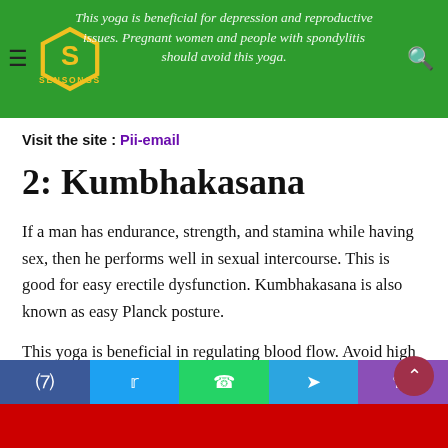This yoga is beneficial for depression and reproductive issues. Pregnant women and people with spondylitis should avoid this yoga.
Visit the site : Pii-email
2: Kumbhakasana
If a man has endurance, strength, and stamina while having sex, then he performs well in sexual intercourse. This is good for easy erectile dysfunction. Kumbhakasana is also known as easy Planck posture.
This yoga is beneficial in regulating blood flow. Avoid high blood pressure and osteoporosis.